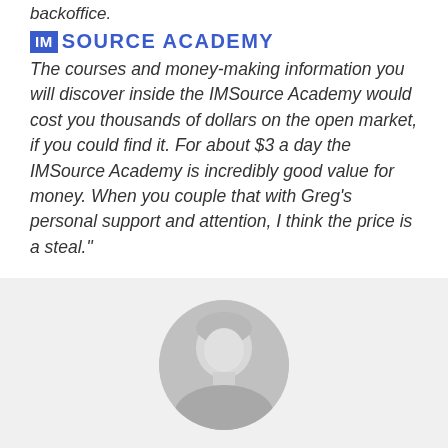backoffice.
IM SOURCE ACADEMY
The courses and money-making information you will discover inside the IMSource Academy would cost you thousands of dollars on the open market, if you could find it. For about $3 a day the IMSource Academy is incredibly good value for money. When you couple that with Greg's personal support and attention, I think the price is a steal."
Haydn Stevenson Co-founder of Staged.com and Socialleadninja.com
[Figure (photo): Black and white circular headshot photo of a person, cropped at shoulders, visible in the lower portion of the page on a light gray background.]